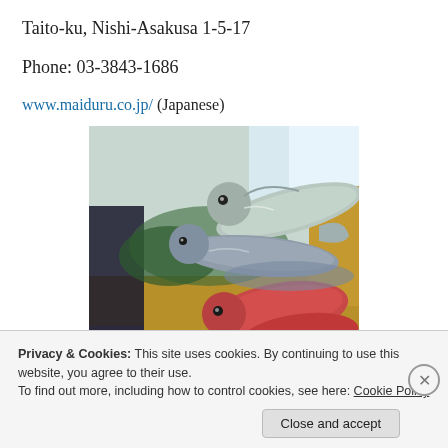Taito-ku, Nishi-Asakusa 1-5-17
Phone: 03-3843-1686
www.maiduru.co.jp/ (Japanese)
[Figure (photo): Fresh fish displayed on a table or counter, showing whole fish including silvery/grey fish and reddish fish, with some packaging visible in the background.]
Privacy & Cookies: This site uses cookies. By continuing to use this website, you agree to their use.
To find out more, including how to control cookies, see here: Cookie Policy
Close and accept